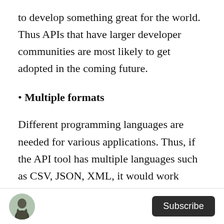to develop something great for the world. Thus APIs that have larger developer communities are most likely to get adopted in the coming future.
• Multiple formats
Different programming languages are needed for various applications. Thus, if the API tool has multiple languages such as CSV, JSON, XML, it would work better with different applications.
• Proper Documentation
Subscribe